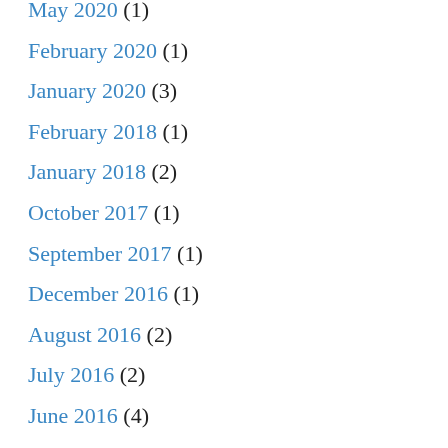May 2020 (1)
February 2020 (1)
January 2020 (3)
February 2018 (1)
January 2018 (2)
October 2017 (1)
September 2017 (1)
December 2016 (1)
August 2016 (2)
July 2016 (2)
June 2016 (4)
May 2016 (5)
April 2016 (2)
May 2014 (1)
January 2014 (2)
December 2013 (2)